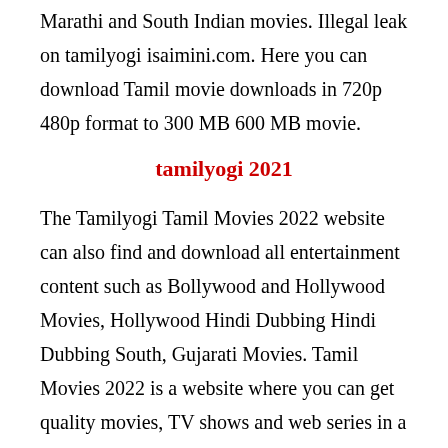Marathi and South Indian movies. Illegal leak on tamilyogi isaimini.com. Here you can download Tamil movie downloads in 720p 480p format to 300 MB 600 MB movie.
tamilyogi 2021
The Tamilyogi Tamil Movies 2022 website can also find and download all entertainment content such as Bollywood and Hollywood Movies, Hollywood Hindi Dubbing Hindi Dubbing South, Gujarati Movies. Tamil Movies 2022 is a website where you can get quality movies, TV shows and web series in a small format.
[Figure (photo): A dark movie promotional image showing three male figures/actors in silhouette against a dark background with an orange/amber glow on the right side. A circular logo is visible in the top left corner.]